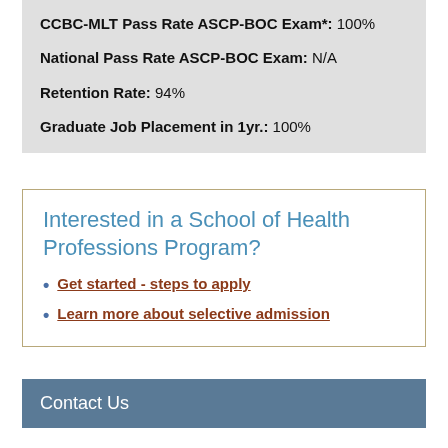CCBC-MLT Pass Rate ASCP-BOC Exam*: 100%
National Pass Rate ASCP-BOC Exam: N/A
Retention Rate: 94%
Graduate Job Placement in 1yr.: 100%
Interested in a School of Health Professions Program?
Get started - steps to apply
Learn more about selective admission
Contact Us